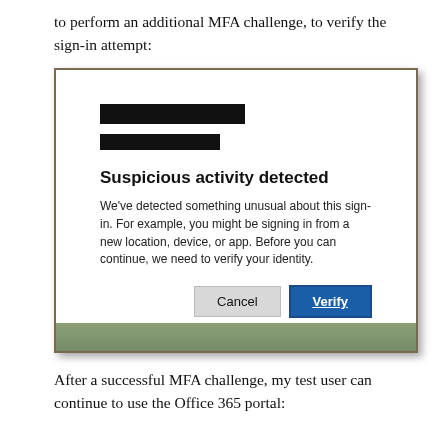to perform an additional MFA challenge, to verify the sign-in attempt:
[Figure (screenshot): Screenshot of a Microsoft security dialog showing 'Suspicious activity detected' with two redacted bars at top, body text explaining unusual sign-in activity, and Cancel / Verify buttons at bottom. The dialog appears over a nature background.]
After a successful MFA challenge, my test user can continue to use the Office 365 portal: